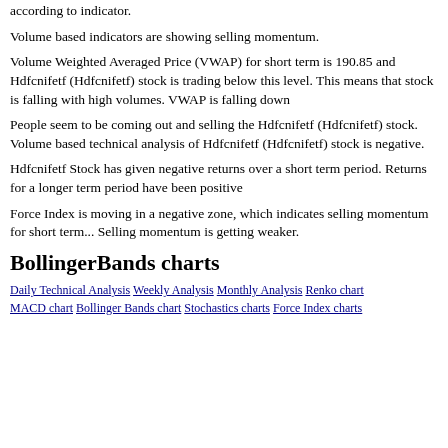according to indicator.
Volume based indicators are showing selling momentum.
Volume Weighted Averaged Price (VWAP) for short term is 190.85 and Hdfcnifetf (Hdfcnifetf) stock is trading below this level. This means that stock is falling with high volumes. VWAP is falling down
People seem to be coming out and selling the Hdfcnifetf (Hdfcnifetf) stock. Volume based technical analysis of Hdfcnifetf (Hdfcnifetf) stock is negative.
Hdfcnifetf Stock has given negative returns over a short term period. Returns for a longer term period have been positive
Force Index is moving in a negative zone, which indicates selling momentum for short term... Selling momentum is getting weaker.
BollingerBands charts
Daily Technical Analysis Weekly Analysis Monthly Analysis Renko chart MACD chart Bollinger Bands chart Stochastics charts Force Index charts